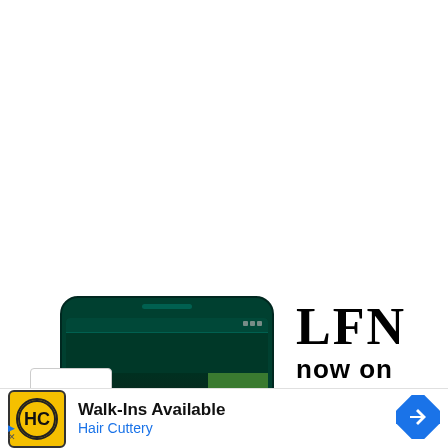[Figure (screenshot): Partial screenshot of a mobile app or website showing a smartphone displaying a dark green interface with a person's silhouette and a green strip, alongside large bold text reading 'LFN' and 'now on' in black. A chevron/down arrow button is visible on the left.]
[Figure (infographic): Advertisement banner for Hair Cuttery with yellow/gold HC logo, text 'Walk-Ins Available' in bold black, 'Hair Cuttery' in blue, and a blue diamond-shaped navigation arrow icon on the right. Small ad triangle and X indicators at bottom left.]